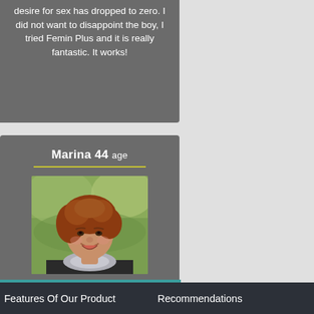desire for sex has dropped to zero. I did not want to disappoint the boy, I tried Femin Plus and it is really fantastic. It works!
Marina 44 age
[Figure (photo): Portrait photo of Marina, a middle-aged woman with curly reddish-brown hair, smiling, wearing a dark jacket and scarf, outdoors with blurred green background.]
Features Of Our Product    Recommendations